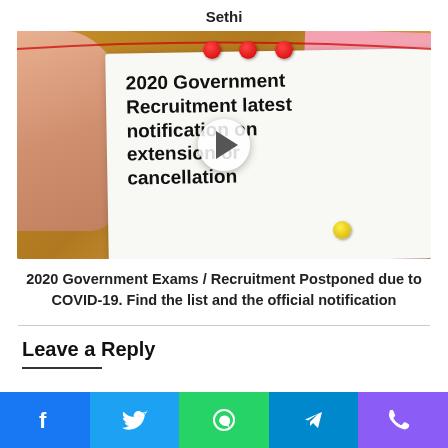Sethi
[Figure (photo): A cork bulletin board with a white paper note pinned by red thumbtacks showing text '2020 Government Recruitment latest notification on extension or cancellation', a hand reaching from the left, pink sticky notes on the right with numbers, and a play button overlay in the center.]
2020 Government Exams / Recruitment Postponed due to COVID-19. Find the list and the official notification
Leave a Reply
[Figure (infographic): Bottom social sharing bar with Facebook, Twitter, WhatsApp, Telegram, and Phone icons in blue, light blue, green, dark blue, and purple respectively.]